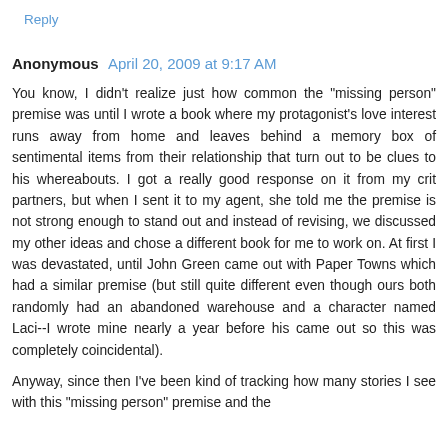Reply
Anonymous  April 20, 2009 at 9:17 AM
You know, I didn't realize just how common the "missing person" premise was until I wrote a book where my protagonist's love interest runs away from home and leaves behind a memory box of sentimental items from their relationship that turn out to be clues to his whereabouts. I got a really good response on it from my crit partners, but when I sent it to my agent, she told me the premise is not strong enough to stand out and instead of revising, we discussed my other ideas and chose a different book for me to work on. At first I was devastated, until John Green came out with Paper Towns which had a similar premise (but still quite different even though ours both randomly had an abandoned warehouse and a character named Laci--I wrote mine nearly a year before his came out so this was completely coincidental).
Anyway, since then I've been kind of tracking how many stories I see with this "missing person" premise and the